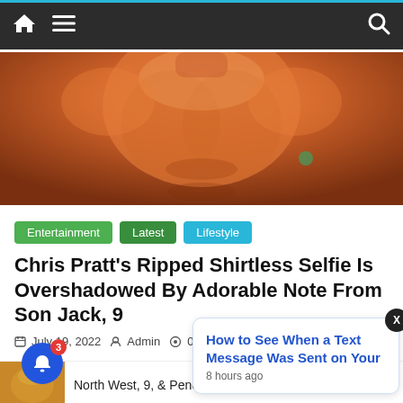Navigation bar with home, menu, and search icons
[Figure (photo): Shirtless muscular man (Chris Pratt) torso photo, warm orange/brown tones]
Entertainment
Latest
Lifestyle
Chris Pratt’s Ripped Shirtless Selfie Is Overshadowed By Adorable Note From Son Jack, 9
July 19, 2022  Admin  0
View gallery Image Credit: ©Walt Disney Studios Motion Pictures/Courtesy Everett Collection Chris Pratt flexed his muscles in a br...
[Figure (screenshot): Popup notification box with link: 'How to See When a Text Message Was Sent on Your' — 8 hours ago]
North West, 9, & Penelope Disick, 10,